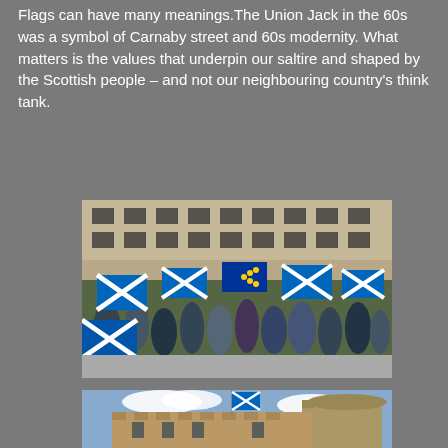Flags can have many meanings.The Union Jack in the 60s was a symbol of Carnaby street and 60s modernity. What matters is the values that underpin our saltire and shaped by the Scottish people – and not our neighbouring country's think tank.
[Figure (photo): Crowd of people waving Scottish Saltire flags and EU flags in front of a large stone building, outdoor rally or march]
[Figure (photo): Scottish castle with a Scottish Saltire flag flying from a flagpole, blue sky with clouds, stone tower in foreground]